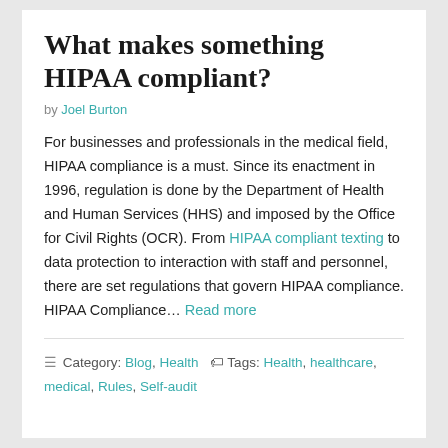What makes something HIPAA compliant?
by Joel Burton
For businesses and professionals in the medical field, HIPAA compliance is a must. Since its enactment in 1996, regulation is done by the Department of Health and Human Services (HHS) and imposed by the Office for Civil Rights (OCR). From HIPAA compliant texting to data protection to interaction with staff and personnel, there are set regulations that govern HIPAA compliance. HIPAA Compliance… Read more
☰ Category: Blog, Health  🏷 Tags: Health, healthcare, medical, Rules, Self-audit